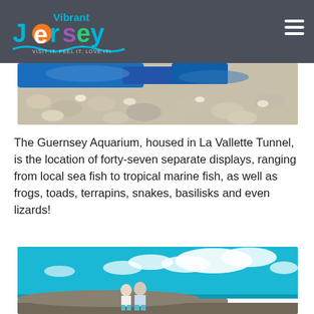Vibrant Jersey — VISIT IT. FEEL IT. LOVE IT!
[Figure (photo): Partial photo of colorful sea glass and shells on a beach, with blue and white objects visible]
The Guernsey Aquarium, housed in La Vallette Tunnel, is the location of forty-seven separate displays, ranging from local sea fish to tropical marine fish, as well as frogs, toads, terrapins, snakes, basilisks and even lizards!
[Figure (photo): Two children sitting on top of a large stone WWII bunker structure, with a bright blue sky filled with white clouds and the sea in the background]